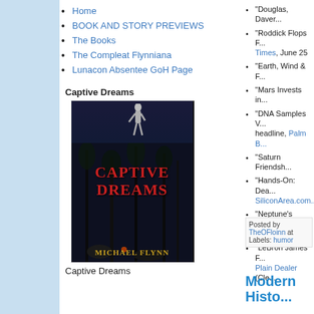Home
BOOK AND STORY PREVIEWS
The Books
The Compleat Flynniana
Lunacon Absentee GoH Page
Captive Dreams
[Figure (photo): Book cover for Captive Dreams by Michael Flynn. Dark blue/night background with tall trees and a silver figure at the top. Title in red letters, author name in gold at bottom.]
Captive Dreams
"Douglas, Daver...
"Roddick Flops F... Times, June 25
"Earth, Wind & F...
"Mars Invests in...
"DNA Samples V... headline, Palm B...
"Saturn Friendsh...
"Hands-On: Dea... SiliconArea.com...
"Neptune's Gran... Scotia), June 29
"LeBron James F... Plain Dealer (Cle...
Posted by TheOFloinn at Labels: humor
Modern Histo...